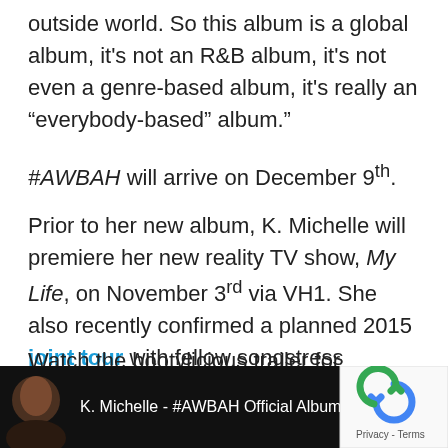outside world. So this album is a global album, it's not an R&B album, it's not even a genre-based album, it's really an “everybody-based” album.”
#AWBAH will arrive on December 9th.
Prior to her new album, K. Michelle will premiere her new reality TV show, My Life, on November 3rd via VH1. She also recently confirmed a planned 2015 joint tour with fellow songstress Keyshia Cole.
Watch the bootylicious trailer for #AWBAH below:
[Figure (screenshot): Video thumbnail showing K. Michelle with text 'K. Michelle - #AWBAH Official Album...' on a dark background, with a reCAPTCHA widget in the bottom right corner.]